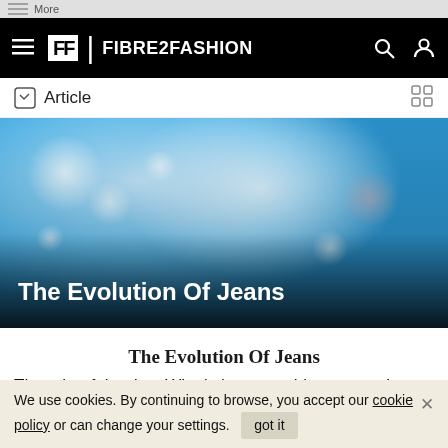More
FF | FIBRE2FASHION
Article
[Figure (photo): Hero banner image with blue bokeh background and dark gradient overlay at the bottom, text overlay reading 'The Evolution Of Jeans']
The Evolution Of Jeans
Thought of the day: Why is it acceptable to wear the same pair of jeans for days, even weeks, without being questioned by friends? Yet wearing
We use cookies. By continuing to browse, you accept our cookie policy or can change your settings. got it